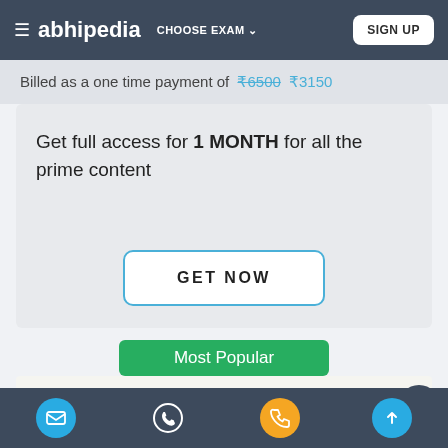≡ abhipedia  CHOOSE EXAM ∨  SIGN UP
Billed as a one time payment of ₹6500 ₹3150
Get full access for 1 MONTH for all the prime content
GET NOW
Most Popular
12 MONTH
Footer navigation icons: email, whatsapp, phone, scroll-up